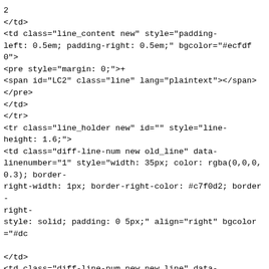2
</td>
<td class="line_content new" style="padding-left: 0.5em; padding-right: 0.5em;" bgcolor="#ecfdf0">
<pre style="margin: 0;">+
<span id="LC2" class="line" lang="plaintext"></span>
</pre>
</td>
</tr>
<tr class="line_holder new" id="" style="line-height: 1.6;">
<td class="diff-line-num new old_line" data-linenumber="1" style="width: 35px; color: rgba(0,0,0,0.3); border-right-width: 1px; border-right-color: #c7f0d2; border-right-style: solid; padding: 0 5px;" align="right" bgcolor="#dc

</td>
<td class="diff-line-num new new_line" data-linenumber="3" style="width: 35px; color: rgba(0,0,0,0.3); border-right-width: 1px; border-right-color: #c7f0d2; border-right-style: solid; padding: 0 5px;" align="right" bgcolor="#dc
3
</td>
<td class="line_content new" style="padding-left: 0.5em; padding-right: 0.5em;" bgcolor="#ecfdf0">
<pre style="margin: 0;">+
<span id="LC3" class="line" lang="plaintext">  * New upst
</pre>